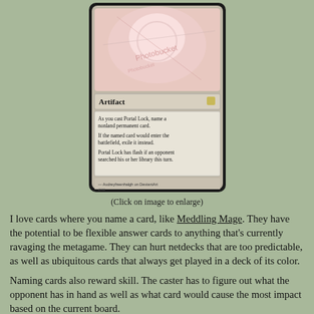[Figure (illustration): A Magic: The Gathering card called Portal Lock shown partially. The visible portion shows the card type 'Artifact', and the text box with three paragraphs: 'As you cast Portal Lock, name a nonland permanent card.', 'If the named card would enter the battlefield, exile it instead.', 'Portal Lock has flash if an opponent searched his or her library this turn.' Artist credit reads 'Audreyfreenhalgh on DeviantArt'.]
(Click on image to enlarge)
I love cards where you name a card, like Meddling Mage. They have the potential to be flexible answer cards to anything that's currently ravaging the metagame. They can hurt netdecks that are too predictable, as well as ubiquitous cards that always get played in a deck of its color.
Naming cards also reward skill. The caster has to figure out what the opponent has in hand as well as what card would cause the most impact based on the current board.